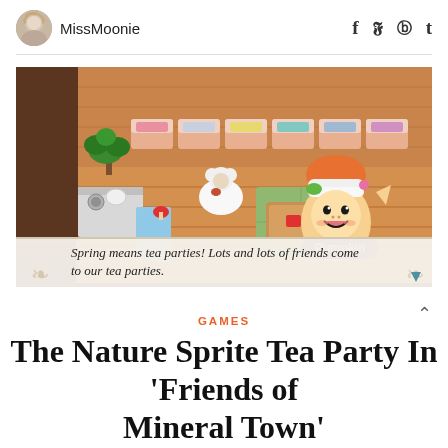MissMoonie
[Figure (screenshot): A screenshot from a video game showing a room with wooden floors, colorful beds along the back wall, a green plant, a stove area, and a cartoon character named Pumpkin — a smiling elf-like sprite with an orange hat and green hair. A sheep-like character is in the background. A dialogue box at the bottom reads: 'Spring means tea parties! Lots and lots of friends come to our tea parties.']
GAMES
The Nature Sprite Tea Party In 'Friends of Mineral Town'